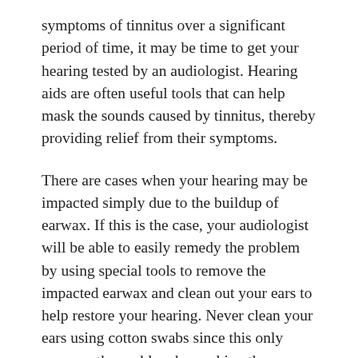symptoms of tinnitus over a significant period of time, it may be time to get your hearing tested by an audiologist. Hearing aids are often useful tools that can help mask the sounds caused by tinnitus, thereby providing relief from their symptoms.
There are cases when your hearing may be impacted simply due to the buildup of earwax. If this is the case, your audiologist will be able to easily remedy the problem by using special tools to remove the impacted earwax and clean out your ears to help restore your hearing. Never clean your ears using cotton swabs since this only worsens the problem by pushing the earwax deeper into your ears. Hearing loss is one of the reasons people visit audiologists, but